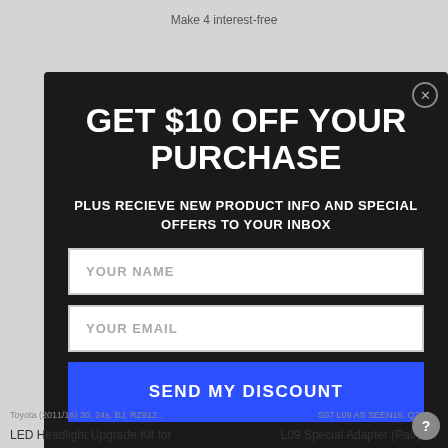Make 4 interest-free
[Figure (screenshot): Modal popup on dark background with promotional offer: GET $10 OFF YOUR PURCHASE, plus receive new product info and special offers to your inbox, with YOUR NAME and YOUR EMAIL input fields and a SEND MY DISCOUNT button in blue.]
LED Headlight Upgrade Kit for
L09 Special Adapter (Pair) for